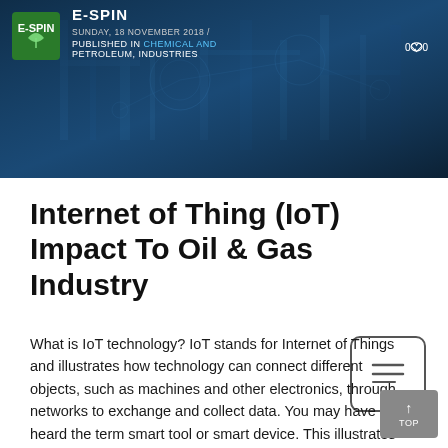E-SPIN | SUNDAY, 18 NOVEMBER 2018 / PUBLISHED IN CHEMICAL AND PETROLEUM, INDUSTRIES | 0 comments | 0 likes
Internet of Thing (IoT) Impact To Oil & Gas Industry
What is IoT technology? IoT stands for Internet of Things and illustrates how technology can connect different objects, such as machines and other electronics, through networks to exchange and collect data. You may have heard the term smart tool or smart device. This illustrates the IoT canabilities in the